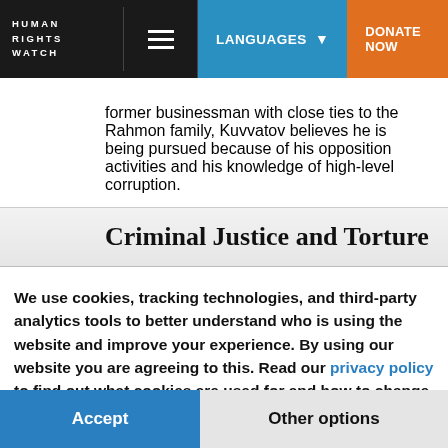HUMAN RIGHTS WATCH | LANGUAGES | DONATE NOW
former businessman with close ties to the Rahmon family, Kuvvatov believes he is being pursued because of his opposition activities and his knowledge of high-level corruption.
Criminal Justice and Torture
We use cookies, tracking technologies, and third-party analytics tools to better understand who is using the website and improve your experience. By using our website you are agreeing to this. Read our privacy policy to find out what cookies are used for and how to change your settings.
Accept | Other options